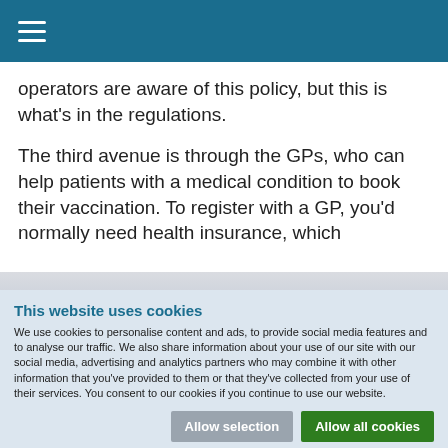≡
operators are aware of this policy, but this is what's in the regulations.
The third avenue is through the GPs, who can help patients with a medical condition to book their vaccination. To register with a GP, you'd normally need health insurance, which
This website uses cookies
We use cookies to personalise content and ads, to provide social media features and to analyse our traffic. We also share information about your use of our site with our social media, advertising and analytics partners who may combine it with other information that you've provided to them or that they've collected from your use of their services. You consent to our cookies if you continue to use our website.
Allow selection | Allow all cookies
Necessary  Preferences  Statistics  Marketing  Show details